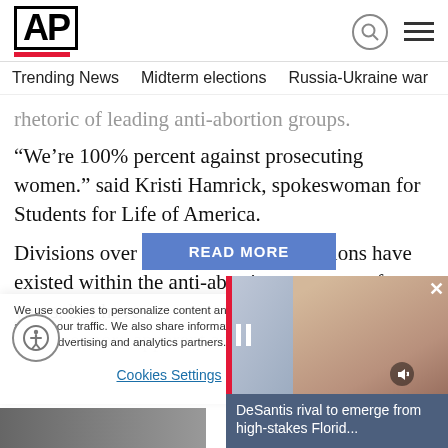AP
Trending News  Midterm elections  Russia-Ukraine war  Dona
rhetoric of leading anti-abortion groups.
“We’re 100% percent against prosecuting women.” said Kristi Hamrick, spokeswoman for Students for Life of America.
Divisions over rape-and-incest exceptions have existed within the anti-abortion movement for years, but have become more apparent as several s
We use cookies to personalize content and ads, to provide social media features and to analyze our traffic. We also share information about your use of our site with our social media, advertising and analytics partners. Privacy Policy
Cookies Settings
Accept All
[Figure (screenshot): Video overlay showing a woman smiling, with AP red bar on left, pause and mute controls, and caption 'DeSantis rival to emerge from high-stakes Florid...' with close button X]